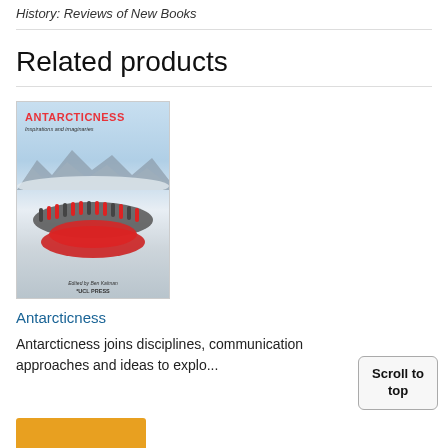History: Reviews of New Books
Related products
[Figure (photo): Book cover of Antarcticness: Inspirations and Imaginaries, showing a large group of people in red and dark jackets arranged in the snow, with rocky snowy landscape in background. Published by UCL Press.]
Antarcticness
Antarcticness joins disciplines, communication approaches and ideas to explo...